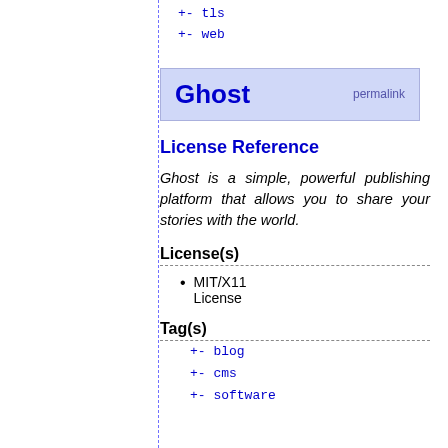+- tls
+- web
Ghost permalink
License Reference
Ghost is a simple, powerful publishing platform that allows you to share your stories with the world.
License(s)
MIT/X11 License
Tag(s)
+- blog
+- cms
+- software